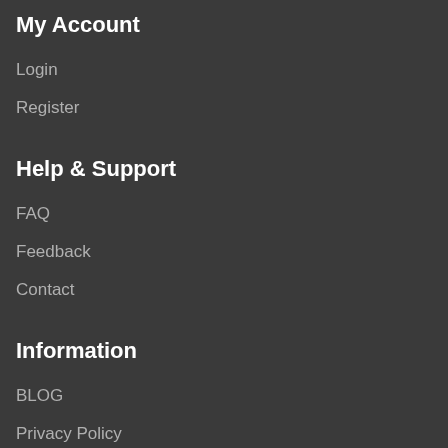My Account
Login
Register
Help & Support
FAQ
Feedback
Contact
Information
BLOG
Privacy Policy
Terms & Conditions